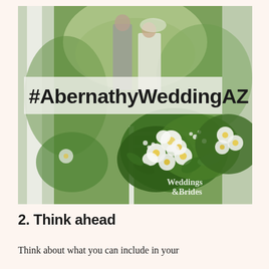[Figure (photo): Outdoor wedding ceremony photo showing a couple at the altar with white floral arrangements of daisies, roses, and greenery in the foreground. A white semi-transparent banner overlaid reads '#AbernathyWeddingAZ'. A 'Weddings & Brides' watermark appears in the bottom-right corner.]
2. Think ahead
Think about what you can include in your